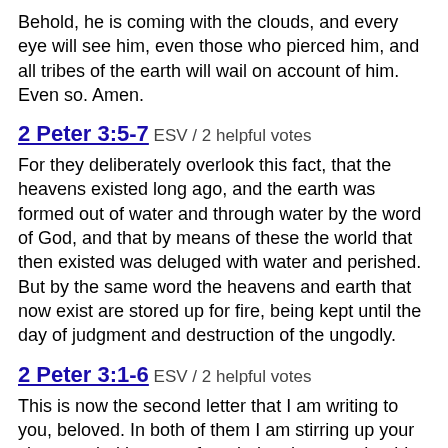Behold, he is coming with the clouds, and every eye will see him, even those who pierced him, and all tribes of the earth will wail on account of him. Even so. Amen.
2 Peter 3:5-7 ESV / 2 helpful votes
For they deliberately overlook this fact, that the heavens existed long ago, and the earth was formed out of water and through water by the word of God, and that by means of these the world that then existed was deluged with water and perished. But by the same word the heavens and earth that now exist are stored up for fire, being kept until the day of judgment and destruction of the ungodly.
2 Peter 3:1-6 ESV / 2 helpful votes
This is now the second letter that I am writing to you, beloved. In both of them I am stirring up your sincere mind by way of reminder, that you should remember the predictions of the holy prophets and the commandment of the Lord and Savior through your apostles, knowing this first of all, that scoffers will come in the last days with scoffing, following their own sinful desires. They will say, “Where is the promise of his coming? For ever since the fathers fell asleep, all things are continuing as they